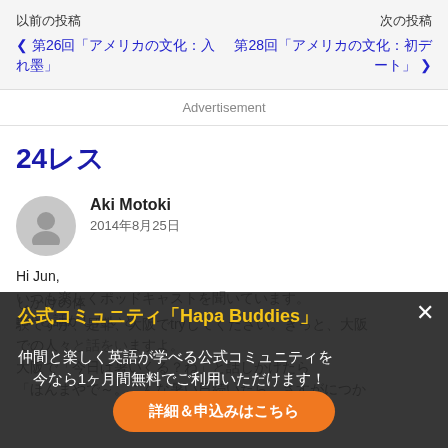以前の投稿
次の投稿
❮ 第26回「アメリカの文化：入れ墨」
第28回「アメリカの文化：初デート」❯
Advertisement
24レス
Aki Motoki
2014年8月25日
Hi Jun,
いつも楽しくポッドキャストを聞いています。
Junと話がしたいと思いました。しかけの体験ですが、是非、大阪でtryしてください。きっと、大阪での人々の人々と話をいますよ。
大阪で「今日は音いく？ね」と話しかけたら「ほんまやで～。こんな暑い日続いたらさすがにつかれてしまいますわ～。」
公式コミュニティ「Hapa Buddies」
仲間と楽しく英語が学べる公式コミュニティを今なら1ヶ月間無料でご利用いただけます！
詳細＆申込みはこちら